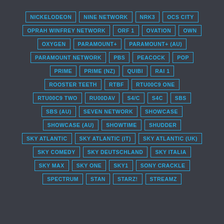NICKELODEON
NINE NETWORK
NRK3
OCS CITY
OPRAH WINFREY NETWORK
ORF 1
OVATION
OWN
OXYGEN
PARAMOUNT+
PARAMOUNT+ (AU)
PARAMOUNT NETWORK
PBS
PEACOCK
POP
PRIME
PRIME (NZ)
QUIBI
RAI 1
ROOSTER TEETH
RTBF
RTU00C9 ONE
RTU00C9 TWO
RU00DAV
S4/C
S4C
SBS
SBS (AU)
SEVEN NETWORK
SHOWCASE
SHOWCASE (AU)
SHOWTIME
SHUDDER
SKY ATLANTIC
SKY ATLANTIC (IT)
SKY ATLANTIC (UK)
SKY COMEDY
SKY DEUTSCHLAND
SKY ITALIA
SKY MAX
SKY ONE
SKY1
SONY CRACKLE
SPECTRUM
STAN
STARZ!
STREAMZ